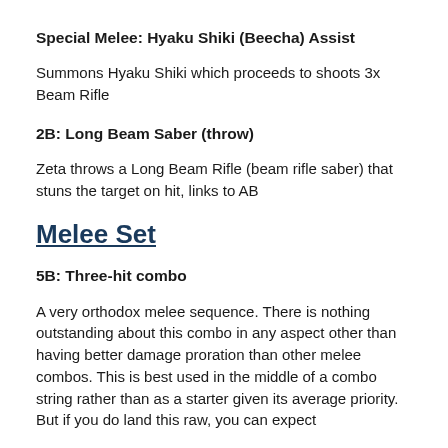Special Melee: Hyaku Shiki (Beecha) Assist
Summons Hyaku Shiki which proceeds to shoots 3x Beam Rifle
2B: Long Beam Saber (throw)
Zeta throws a Long Beam Rifle (beam rifle saber) that stuns the target on hit, links to AB
Melee Set
5B: Three-hit combo
A very orthodox melee sequence. There is nothing outstanding about this combo in any aspect other than having better damage proration than other melee combos. This is best used in the middle of a combo string rather than as a starter given its average priority. But if you do land this raw, you can expect